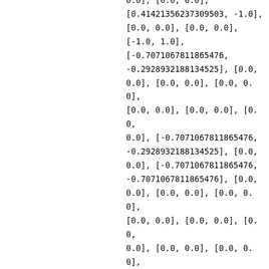0.0], [0.0, 0.0],
[0.41421356237309503, -1.0],
[0.0, 0.0], [0.0, 0.0],
[-1.0, 1.0],
[-0.7071067811865476,
-0.2928932188134525], [0.0,
0.0], [0.0, 0.0], [0.0, 0.0],
[0.0, 0.0], [0.0, 0.0], [0.0,
0.0], [-0.7071067811865476,
-0.2928932188134525], [0.0,
0.0], [-0.7071067811865476,
-0.7071067811865476], [0.0,
0.0], [0.0, 0.0], [0.0, 0.0],
[0.0, 0.0], [0.0, 0.0], [0.0,
0.0], [0.0, 0.0], [0.0, 0.0],
[0.0, 0.0],
[0.7071067811865476,
-0.2928932188134525], [0.0,
0.0], [0.0, 0.0], [0.0, 0.0],
[0.0, 0.0], [0.0, 0.0], [0.0,